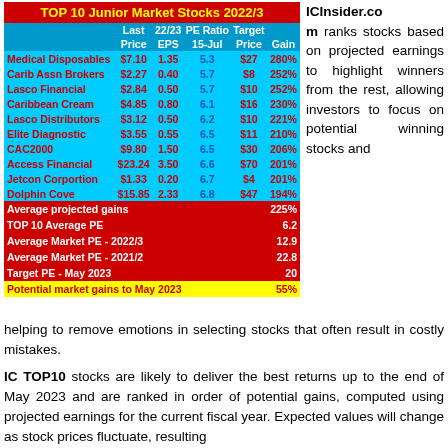| Stock | Last Price | 22/23 EPS | PE Ratio 15-Jul | Target Price | Gain |
| --- | --- | --- | --- | --- | --- |
| Medical Disposables | $7.10 | 1.35 | 5.3 | $27 | 280% |
| Carib Assn Brokers | $2.27 | 0.40 | 5.7 | $8 | 252% |
| Lasco Financial | $2.84 | 0.50 | 5.7 | $10 | 252% |
| Caribbean Cream | $4.85 | 0.80 | 6.1 | $16 | 230% |
| Lasco Distributors | $3.12 | 0.50 | 6.2 | $10 | 221% |
| Elite Diagnostic | $3.55 | 0.55 | 6.5 | $11 | 210% |
| CAC2000 | $9.80 | 1.50 | 6.5 | $30 | 206% |
| Access Financial | $23.24 | 3.50 | 6.6 | $70 | 201% |
| Jetcon Corportion | $1.33 | 0.20 | 6.7 | $4 | 201% |
| Dolphin Cove | $15.85 | 2.33 | 6.8 | $47 | 194% |
| Average projected gains |  |  |  |  | 225% |
| TOP 10 Average  PE |  |  |  |  | 6.2 |
| Average Market PE - 2022/3 |  |  |  |  | 12.9 |
| Average Market PE - 2021/2 |  |  |  |  | 22.8 |
| Target PE - May 2023 |  |  |  |  | 20 |
| Potential market gains to May 2023 |  |  |  |  | 55% |
ICInsider.com ranks stocks based on projected earnings to highlight winners from the rest, allowing investors to focus on potential winning stocks and helping to remove emotions in selecting stocks that often result in costly mistakes.
IC TOP10 stocks are likely to deliver the best returns up to the end of May 2023 and are ranked in order of potential gains, computed using projected earnings for the current fiscal year. Expected values will change as stock prices fluctuate, resulting